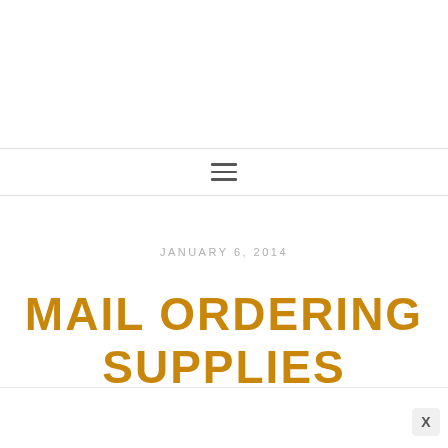JANUARY 6, 2014
MAIL ORDERING SUPPLIES